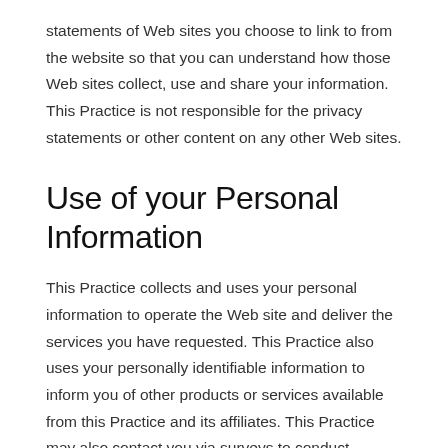statements of Web sites you choose to link to from the website so that you can understand how those Web sites collect, use and share your information. This Practice is not responsible for the privacy statements or other content on any other Web sites.
Use of your Personal Information
This Practice collects and uses your personal information to operate the Web site and deliver the services you have requested. This Practice also uses your personally identifiable information to inform you of other products or services available from this Practice and its affiliates. This Practice may also contact you via surveys to conduct research about your opinion of current services or of